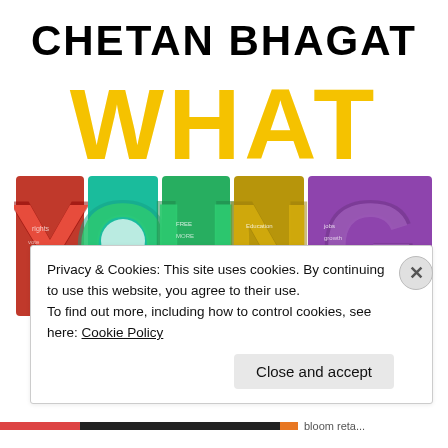CHETAN BHAGAT
[Figure (illustration): Book cover of 'What Young India Wants' by Chetan Bhagat. Large yellow 'WHAT' text at top, colorful illustrated letters spelling 'YOUNG' in the middle (each letter filled with themed doodles in red, teal, green, olive/yellow, and purple), and large yellow italic 'INDIA' at the bottom.]
Privacy & Cookies: This site uses cookies. By continuing to use this website, you agree to their use.
To find out more, including how to control cookies, see here: Cookie Policy
Close and accept